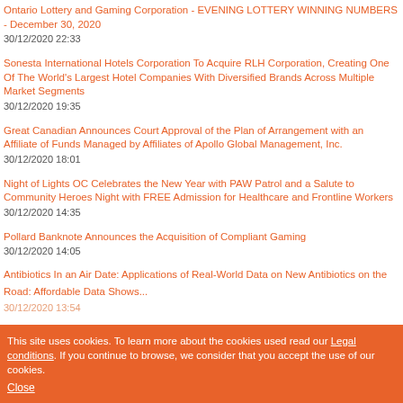Ontario Lottery and Gaming Corporation - EVENING LOTTERY WINNING NUMBERS - December 30, 2020
30/12/2020 22:33
Sonesta International Hotels Corporation To Acquire RLH Corporation, Creating One Of The World's Largest Hotel Companies With Diversified Brands Across Multiple Market Segments
30/12/2020 19:35
Great Canadian Announces Court Approval of the Plan of Arrangement with an Affiliate of Funds Managed by Affiliates of Apollo Global Management, Inc.
30/12/2020 18:01
Night of Lights OC Celebrates the New Year with PAW Patrol and a Salute to Community Heroes Night with FREE Admission for Healthcare and Frontline Workers
30/12/2020 14:35
Pollard Banknote Announces the Acquisition of Compliant Gaming
30/12/2020 14:05
This site uses cookies. To learn more about the cookies used read our Legal conditions. If you continue to browse, we consider that you accept the use of our cookies.
Close